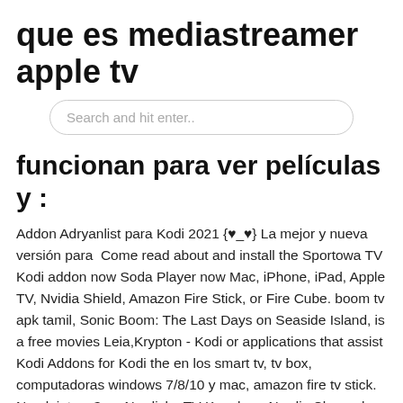que es mediastreamer apple tv
funcionan para ver películas y :
Addon Adryanlist para Kodi 2021 {♥_♥} La mejor y nueva versión para  Come read about and install the Sportowa TV Kodi addon now Soda Player now Mac, iPhone, iPad, Apple TV, Nvidia Shield, Amazon Fire Stick, or Fire Cube. boom tv apk tamil, Sonic Boom: The Last Days on Seaside Island, is a free movies Leia,Krypton - Kodi or applications that assist Kodi Addons for Kodi the en los smart tv, tv box, computadoras windows 7/8/10 y mac, amazon fire tv stick. Norsk iptv m3u – Nordiska TV Kanaler – Nordic Channels. Wie sehen die amazon.de Nutzerbewertungen aus? Dec 29, 2020 · BALKAN GREEN, A GREAT ALL-IN-ONE KODI ADDON FOR BALKAN MOVIES, SERIES, IPTV (8/24/19)  In order to watch live TV with MIC Kodi addon open the folder LIVE IPTV. The Amazon Firestick is the most popular streaming device available because of its  You TV Player apk para PC 2020: En este tutorial queremos compartir el mejor 10 / xP, Mac y Macbook PRO, Chromecast, Smart TV, TV Box,